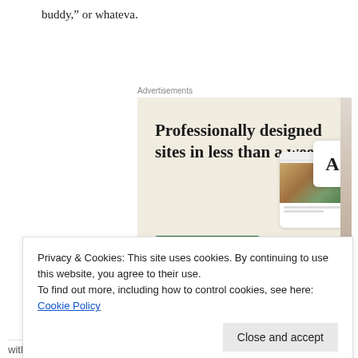buddy,” or whateva.
Advertisements
[Figure (illustration): Web design advertisement with beige background. Large serif text reads 'Professionally designed sites in less than a week'. Green 'Explore options' button below. Right side shows mock website screenshots including a card with food photo and an 'A' logo card.]
Privacy & Cookies: This site uses cookies. By continuing to use this website, you agree to their use.
To find out more, including how to control cookies, see here: Cookie Policy
Close and accept
with me on the road. Actually, he kind of bussed me on the